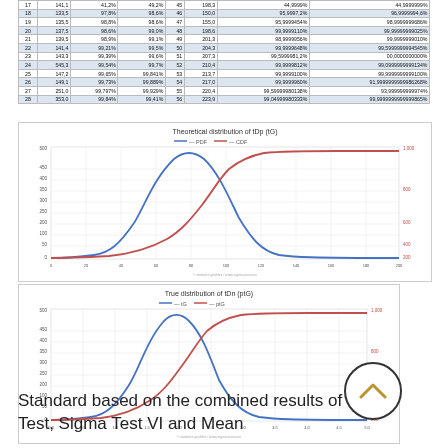| # | val | col3 | col4 | # | val2 | col6 | col7 |
| --- | --- | --- | --- | --- | --- | --- | --- |
| 17 | 141,1 | 41,2% | 49,2% | 45 | 198,3 | 44,9999% | 44,9999999% |
| 18 | 133,5 | 97,8% | 98,6% | 46 | 150,0 | 95,9997,2% | 96,9999994,6% |
| 19 | 135,5 | 98,8% | 98,6% | 47 | 155,0 | 95,9999454% | 98,9999999686% |
| 20 | 137,5 | 98,6% | 99,0% | 48 | 198,6 | 99,9999110% | 99,99999999025% |
| 21 | 139,5 | 98,9% | 99,1% | 49 | 201,3 | 98,9999956% | 99,9999999010% |
| 22 | 141,4 | 99,21% | 99,5% | 50 | 204,3 | 99,9999648% | 99,5999999994545% |
| 23 | 143,3 | 99,39% | 99,6% | 51 | 207,3 | 99,5999981,2% | 00,0000000000% |
| 24 | 545,3 | 99,54% | 99,7% | 52 | 210,4 | 99,9999812% | 99,0999999999134% |
| 25 | 147,2 | 99,65% | 99,841% | 53 | 213,7 | 99,9999100% | 99,9999999999100% |
| 26 | 149,1 | 99,73% | 99,889% | 54 | 217,0 | 99,9999960% | 91,9999999999986268% |
| 27 | 251,0 | 99,797% | 99,929% | 55 | 220,4 | 99,59999980138% | 93,999999999974% |
| 28 | 353,0 | 99,84% | 99,41% | 56 | 223,9 | 99,04999980333% | 99,9999999999999865% |
[Figure (continuous-plot): Dual-curve plot showing theoretical distribution with blue bell curve (PDF) and red S-curve (CDF) of tDp (tG). Blue bell curve peaks around x=100, red sigmoid rises to plateau near 1.000 on right y-axis.]
[Figure (continuous-plot): Dual-curve plot showing true distribution with blue bell curve (PDF) and red S-curve (CDF) of tDn (ptG). Similar shape to first chart. A circular scroll-up navigation button overlaps bottom-right.]
Standard based on the combined results of Sigma Test, Sigma Test VI and Mean